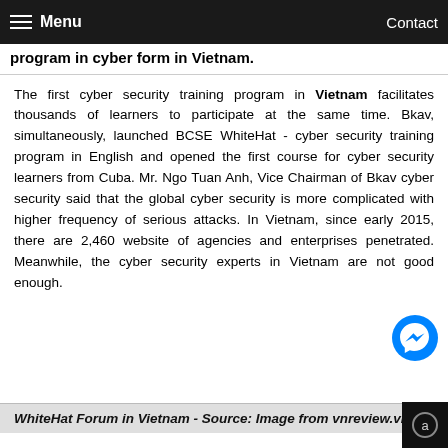Menu   Contact
program in cyber form in Vietnam.
The first cyber security training program in Vietnam facilitates thousands of learners to participate at the same time. Bkav, simultaneously, launched BCSE WhiteHat - cyber security training program in English and opened the first course for cyber security learners from Cuba. Mr. Ngo Tuan Anh, Vice Chairman of Bkav cyber security said that the global cyber security is more complicated with higher frequency of serious attacks. In Vietnam, since early 2015, there are 2,460 website of agencies and enterprises penetrated. Meanwhile, the cyber security experts in Vietnam are not good enough.
WhiteHat Forum in Vietnam - Source: Image from vnreview.vn